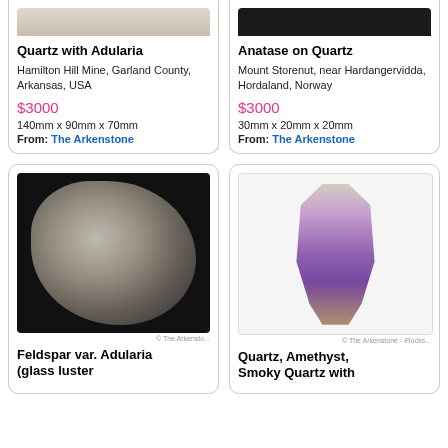[Figure (photo): Partial photo of Quartz with Adularia mineral specimen (cropped at top)]
Quartz with Adularia
Hamilton Hill Mine, Garland County, Arkansas, USA
$3000
140mm x 90mm x 70mm
From: The Arkenstone
[Figure (photo): Partial photo of Anatase on Quartz mineral specimen with dark background (cropped at top)]
Anatase on Quartz
Mount Storenut, near Hardangervidda, Hordaland, Norway
$3000
30mm x 20mm x 20mm
From: The Arkenstone
[Figure (photo): Photo of Feldspar var. Adularia (glass luster) mineral specimen on black background]
Feldspar var. Adularia (glass luster)
[Figure (photo): Photo of Quartz, Amethyst, Smoky Quartz with purple and brown crystal point on white background]
Quartz, Amethyst, Smoky Quartz with